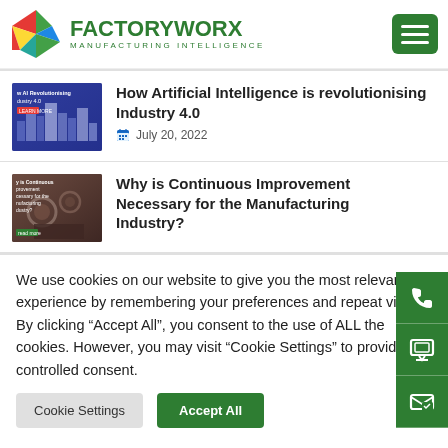[Figure (logo): FactoryWorx Manufacturing Intelligence logo with colorful diamond icon and green text]
How Artificial Intelligence is revolutionising Industry 4.0
July 20, 2022
Why is Continuous Improvement Necessary for the Manufacturing Industry?
We use cookies on our website to give you the most relevant experience by remembering your preferences and repeat visits. By clicking “Accept All”, you consent to the use of ALL the cookies. However, you may visit “Cookie Settings” to provide a controlled consent.